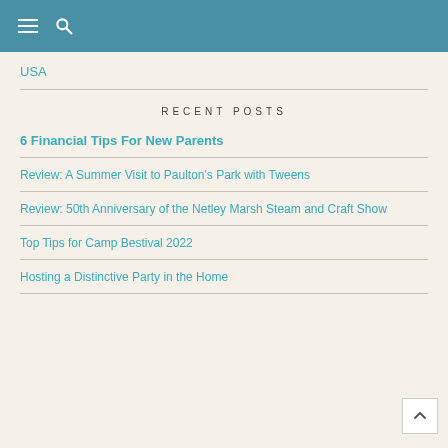≡ 🔍
USA
RECENT POSTS
6 Financial Tips For New Parents
Review: A Summer Visit to Paulton's Park with Tweens
Review: 50th Anniversary of the Netley Marsh Steam and Craft Show
Top Tips for Camp Bestival 2022
Hosting a Distinctive Party in the Home